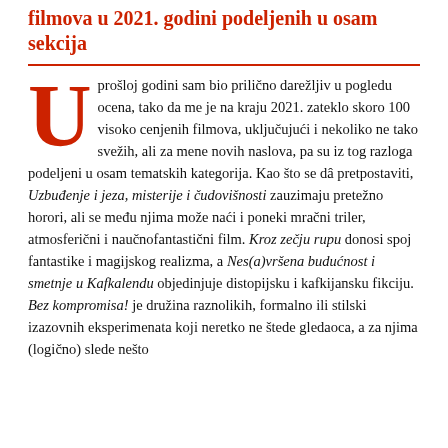filmova u 2021. godini podeljenih u osam sekcija
U prošloj godini sam bio prilično darežljiv u pogledu ocena, tako da me je na kraju 2021. zateklo skoro 100 visoko cenjenih filmova, uključujući i nekoliko ne tako svežih, ali za mene novih naslova, pa su iz tog razloga podeljeni u osam tematskih kategorija. Kao što se dâ pretpostaviti, Uzbuđenje i jeza, misterije i čudovišnosti zauzimaju pretežno horori, ali se među njima može naći i poneki mračni triler, atmosferični i naučnofantastični film. Kroz zečju rupu donosi spoj fantastike i magijskog realizma, a Nes(a)vršena budućnost i smetnje u Kafkalendu objedinjuje distopijsku i kafkijansku fikciju. Bez kompromisa! je družina raznolikih, formalno ili stilski izazovnih eksperimenata koji neretko ne štede gledaoca, a za njima (logično) slede nešto